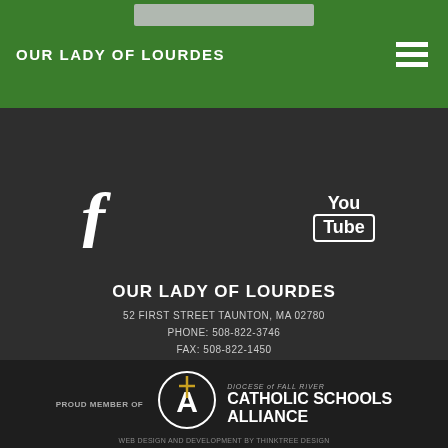OUR LADY OF LOURDES
[Figure (illustration): Facebook icon (f) in white on dark background]
[Figure (illustration): YouTube icon with 'You' and 'Tube' in a rounded rectangle in white on dark background]
OUR LADY OF LOURDES
52 FIRST STREET TAUNTON, MA 02780
PHONE: 508-822-3746
FAX: 508-822-1450
CATHOLIC SCHOOLS ALLIANCE
PROUD MEMBER OF
[Figure (logo): Catholic Schools Alliance logo: circle with cross and letter A inside]
DIOCESE of FALL RIVER
CATHOLIC SCHOOLS ALLIANCE
WEB DESIGN AND DEVELOPMENT BY THINKTREE DESIGN